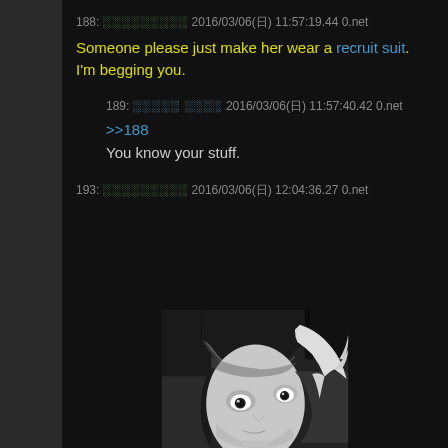188: ░░░░░░░░░ 2016/03/06(日) 11:57:19.44 0.net
Someone please just make her wear a recruit suit.
I'm begging you.
189: ░░░░░ ░░░░ 2016/03/06(日) 11:57:40.42 0.net
>>188
You know your stuff.
193: ░░░░░░░░░ 2016/03/06(日) 12:04:36.27 0.net
[Figure (photo): Black and white close-up photo of a young Asian woman with dark bangs making a hand gesture near her eye, looking upward with large expressive eyes]